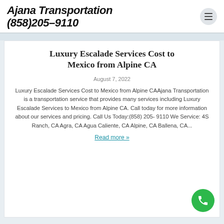Ajana Transportation (858)205-9110
Luxury Escalade Services Cost to Mexico from Alpine CA
August 7, 2022
Luxury Escalade Services Cost to Mexico from Alpine CAAjana Transportation is a transportation service that provides many services including Luxury Escalade Services to Mexico from Alpine CA. Call today for more information about our services and pricing. Call Us Today:(858) 205-9110 We Service: 4S Ranch, CA Agra, CA Agua Caliente, CA Alpine, CA Ballena, CA...
Read more »